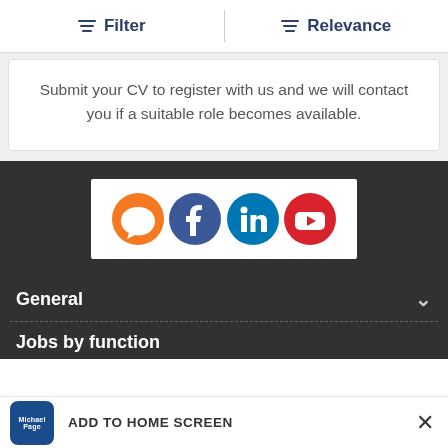Filter   Relevance
Submit your CV to register with us and we will contact you if a suitable role becomes available.
[Figure (infographic): Social media icons: orange speech bubble (chat), blue Facebook, blue LinkedIn, red YouTube]
General
Jobs by function
Michael Page   ADD TO HOME SCREEN   ×